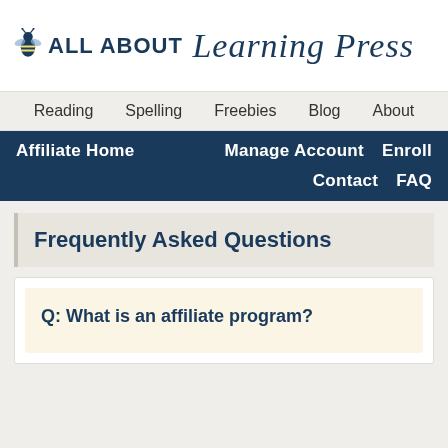[Figure (logo): All About Learning Press logo with bee icon, serif script and sans-serif text in dark navy blue]
Reading  Spelling  Freebies  Blog  About
Affiliate Home  Manage Account  Enroll  Contact  FAQ
Frequently Asked Questions
Q: What is an affiliate program?